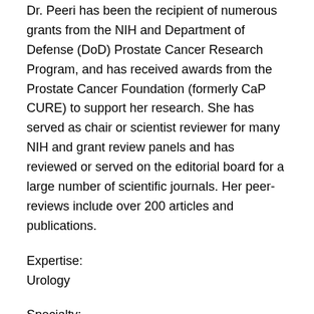Dr. Peeri has been the recipient of numerous grants from the NIH and Department of Defense (DoD) Prostate Cancer Research Program, and has received awards from the Prostate Cancer Foundation (formerly CaP CURE) to support her research. She has served as chair or scientist reviewer for many NIH and grant review panels and has reviewed or served on the editorial board for a large number of scientific journals. Her peer-reviews include over 200 articles and publications.
Expertise:
Urology
Specialty:
Prostate cancer, kidney cancer, molecular and cellular biology